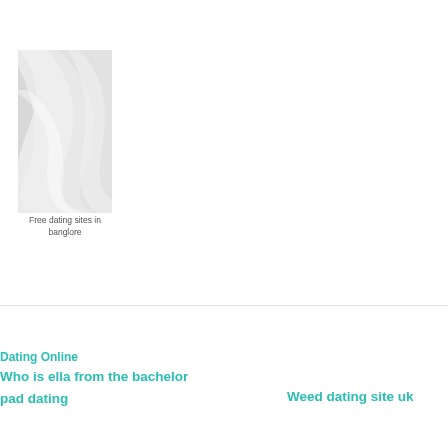[Figure (photo): Placeholder image with grey wavy swirl pattern, representing a thumbnail for a dating site article]
Free dating sites in banglore
Dating Online
Who is ella from the bachelor
pad dating
Weed dating site uk